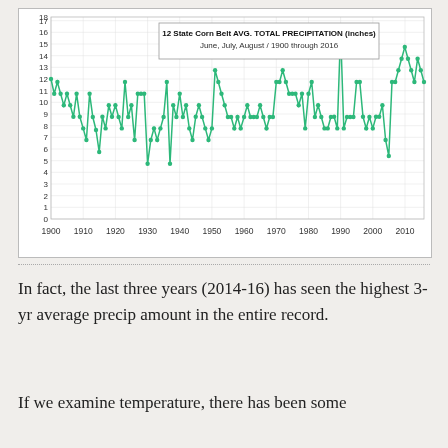[Figure (line-chart): 12 State Corn Belt AVG. TOTAL PRECIPITATION (inches) June, July, August / 1900 through 2016]
In fact, the last three years (2014-16) has seen the highest 3-yr average precip amount in the entire record.
If we examine temperature, there has been some